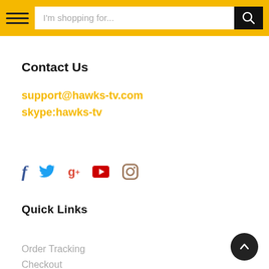[Figure (screenshot): Navigation header bar with hamburger menu, search input 'I'm shopping for...', and black search button with magnifying glass icon on yellow/gold background]
Contact Us
support@hawks-tv.com
skype:hawks-tv
[Figure (infographic): Social media icons: Facebook (f), Twitter (bird), Google+ (g+), YouTube (play button), Instagram (camera)]
Quick Links
Order Tracking
Checkout
My account